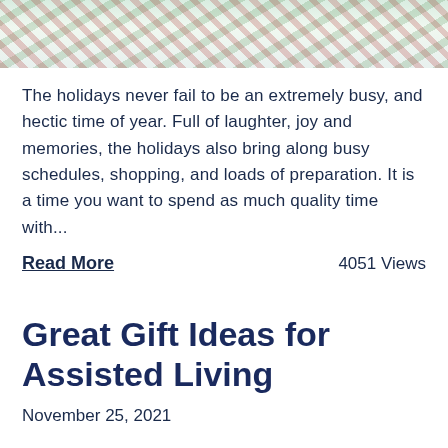[Figure (photo): Christmas holiday themed photo showing green and white knitted stockings, candy canes, and festive decorations]
The holidays never fail to be an extremely busy, and hectic time of year. Full of laughter, joy and memories, the holidays also bring along busy schedules, shopping, and loads of preparation. It is a time you want to spend as much quality time with...
Read More    4051 Views
Great Gift Ideas for Assisted Living
November 25, 2021